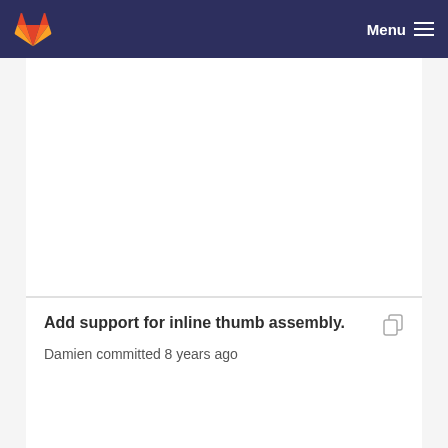Menu
Add support for inline thumb assembly.
Damien committed 8 years ago